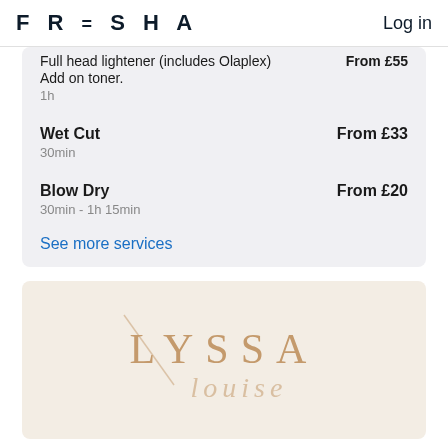FRESHA   Log in
Full head lightener (includes Olaplex) Add on toner. 1h   From £55
Wet Cut   From £33
30min
Blow Dry   From £20
30min - 1h 15min
See more services
[Figure (logo): Lyssa Louise salon logo in tan/gold serif and script lettering on a warm beige background]